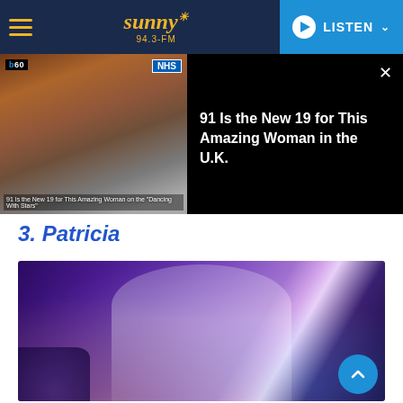Sunny 94.3-FM | LISTEN
[Figure (screenshot): Video thumbnail overlay showing a person near NHS sign, with text: 91 Is the New 19 for This Amazing Woman in the U.K.]
3. Patricia
[Figure (photo): A woman in a white outfit performing on stage, singing passionately into a microphone with arms raised, purple stage lights in background]